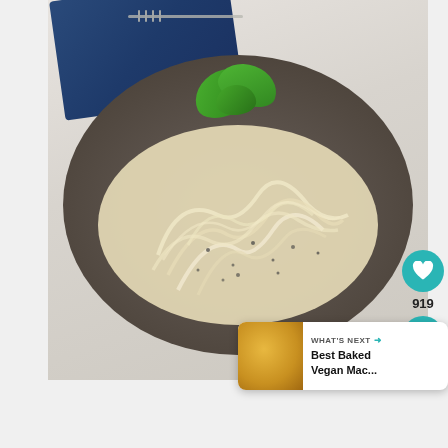[Figure (photo): A plate of creamy white pasta (fettuccine alfredo style) with black pepper, topped with fresh green basil leaves, served on a dark gray/brown ceramic plate. A blue cloth napkin and silver fork are visible in the background on a light marble surface.]
[Figure (infographic): A heart/like button (teal circle with white heart icon) showing count 919, and a share button (teal circle with share icon) overlaid on the right side of the image. A 'WHAT'S NEXT' card at bottom-right showing a thumbnail of mac and cheese with the text 'Best Baked Vegan Mac...']